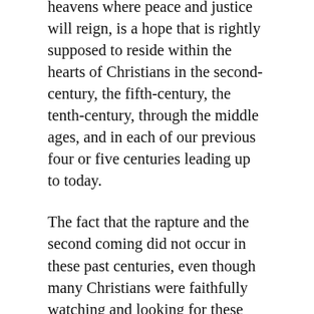heavens where peace and justice will reign, is a hope that is rightly supposed to reside within the hearts of Christians in the second-century, the fifth-century, the tenth-century, through the middle ages, and in each of our previous four or five centuries leading up to today.
The fact that the rapture and the second coming did not occur in these past centuries, even though many Christians were faithfully watching and looking for these events...is due to some overriding considerations that are more important than the timing of the rapture or the second coming of Christ.
One of these important considerations is the salvation of the many sheep that Jesus speaks